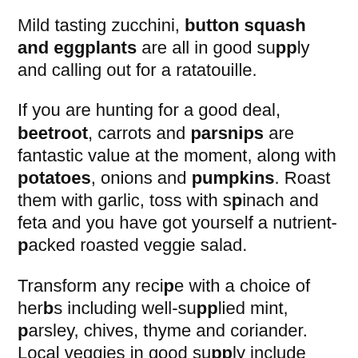Mild tasting zucchini, button squash and eggplants are all in good supply and calling out for a ratatouille.
If you are hunting for a good deal, beetroot, carrots and parsnips are fantastic value at the moment, along with potatoes, onions and pumpkins. Roast them with garlic, toss with spinach and feta and you have got yourself a nutrient-packed roasted veggie salad.
Transform any recipe with a choice of herbs including well-supplied mint, parsley, chives, thyme and coriander. Local veggies in good supply include cauliflower, cucumbers, and broccoli. Enjoy the flush of spring vegetables which include asparagus, spring onions, green beans, snow peas, spinach, kale, lettuce and rocket and all represent great value.
This week's top pick is blackberries currently coming